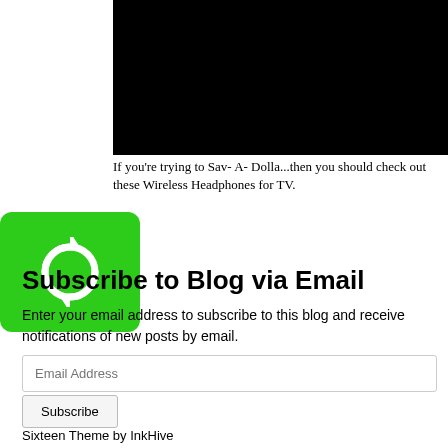[Figure (other): Black video thumbnail placeholder]
If you're trying to Sav- A- Dolla...then you should check out these Wireless Headphones for TV.
[Figure (logo): Green rounded square icon with white refresh/rotate arrow symbol]
Subscribe to Blog via Email
Enter your email address to subscribe to this blog and receive notifications of new posts by email.
Email Address
Subscribe
Sixteen Theme by InkHive